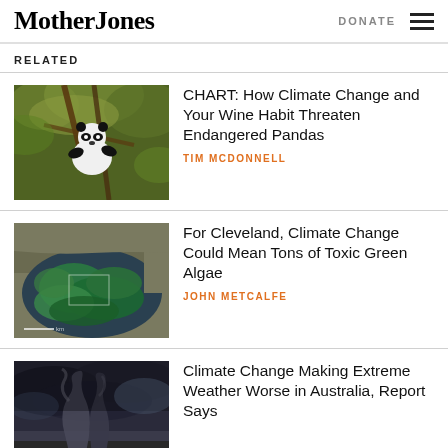Mother Jones | DONATE
RELATED
[Figure (photo): Panda bear climbing a tree in a forest]
CHART: How Climate Change and Your Wine Habit Threaten Endangered Pandas
TIM MCDONNELL
[Figure (photo): Satellite aerial view of Lake Erie with toxic green algae bloom]
For Cleveland, Climate Change Could Mean Tons of Toxic Green Algae
JOHN METCALFE
[Figure (photo): Dark stormy sky with smoke or wildfire in Australia]
Climate Change Making Extreme Weather Worse in Australia, Report Says